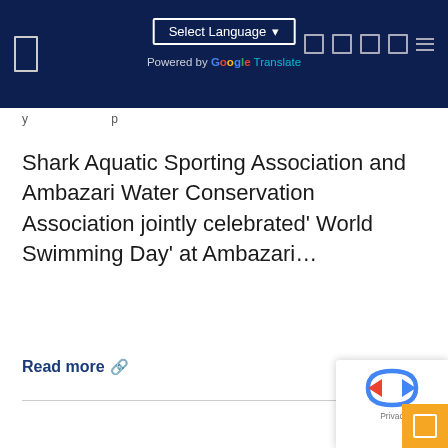Select Language ▼ Powered by Google Translate
y ... p
Shark Aquatic Sporting Association and Ambazari Water Conservation Association jointly celebrated' World Swimming Day' at Ambazari…
Read more 🔗